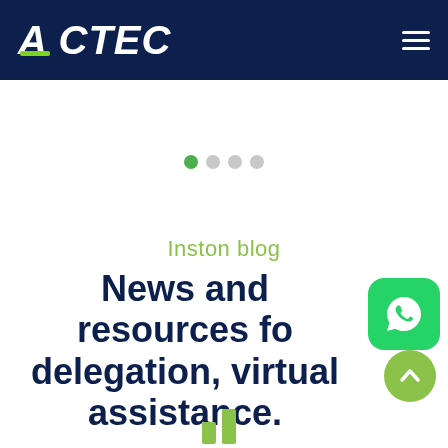[Figure (logo): ACTEC logo in white bold italic text on dark navy background, with a green underline accent under the A]
[Figure (infographic): Carousel dot indicators: one green filled dot and three grey dots]
Inston blog
News and resources for delegation, virtual assistance.
[Figure (screenshot): WhatsApp icon button (green rounded square with white phone/chat icon)]
[Figure (infographic): Green circular scroll-to-top button with upward chevron arrow]
[Figure (bar-chart): Partial bar chart visible at bottom of page, two green vertical bars]